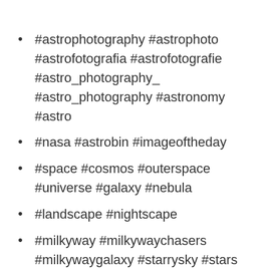#astrophotography #astrophoto #astrofotografia #astrofotografie #astro_photography_ #astro_photography #astronomy #astro
#nasa #astrobin #imageoftheday
#space #cosmos #outerspace #universe #galaxy #nebula
#landscape #nightscape
#milkyway #milkywaychasers #milkywaygalaxy #starrysky #stars #startrailchasers #sky
#longexposure #longexpo #longexpohunter #amazing_longexpo